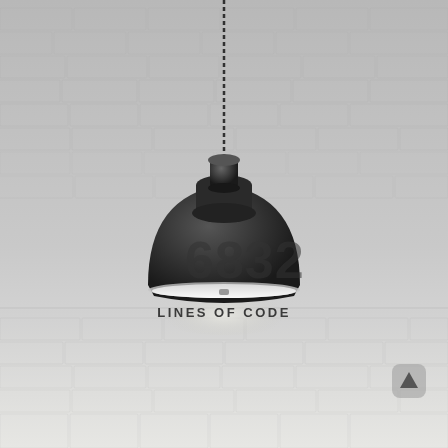[Figure (photo): A black industrial-style pendant lamp with the number '6832' embossed on its shade, hanging by a chain against a white brick wall background. The lamp shade is a dark matte black dome shape with a chrome rim at the bottom opening.]
LINES OF CODE
[Figure (illustration): An upward-pointing arrow icon in a rounded square button, dark gray color, positioned in the bottom right area of the image.]